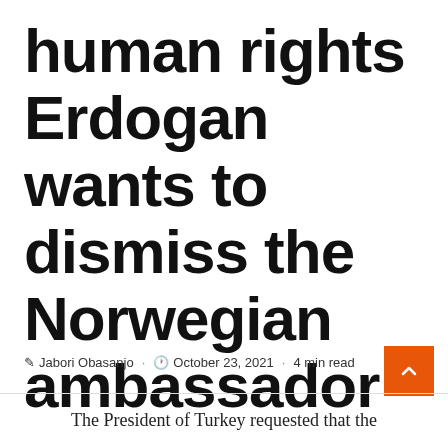human rights Erdogan wants to dismiss the Norwegian ambassador
✎ Jabori Obasanjo · 🕐 October 23, 2021 · 4 min read
The President of Turkey requested that the